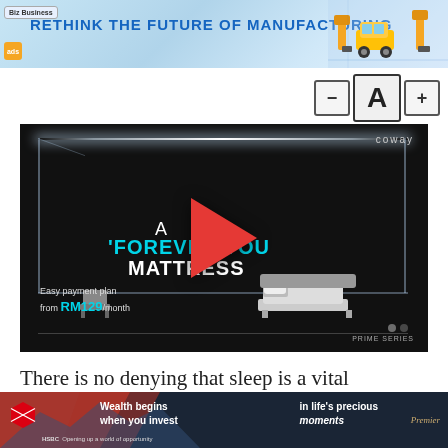[Figure (other): Banner advertisement for manufacturing technology with blue gradient background, text 'RETHINK THE FUTURE OF MANUFACTURING' and robotic/industrial machinery icons on right]
[Figure (other): Font size adjustment controls showing minus button, large A, and plus button]
[Figure (other): Coway mattress video thumbnail with dark background, geometric box outline with glowing white top edge, text 'A FOREVER YOUR MATTRESS' in white and cyan, red play button in center, 'Easy payment plan from RM129/month' text, furniture imagery, 'PRIME SERIES' branding]
There is no denying that sleep is a vital component of health. Getting a good night's rest is essential to our well-being
[Figure (other): HSBC Premier advertisement with dark blue background, people on left, text 'Wealth begins when you invest' and 'in life's precious moments', HSBC logo and Premier branding]